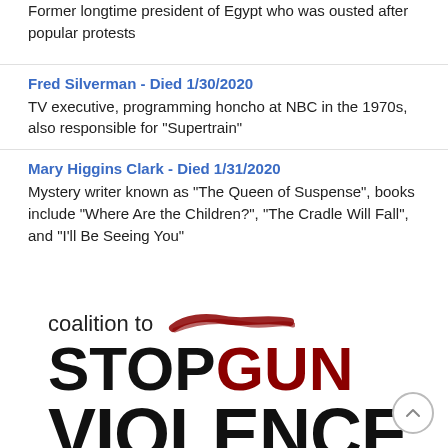Former longtime president of Egypt who was ousted after popular protests
Fred Silverman - Died 1/30/2020
TV executive, programming honcho at NBC in the 1970s, also responsible for "Supertrain"
Mary Higgins Clark - Died 1/31/2020
Mystery writer known as "The Queen of Suspense", books include "Where Are the Children?", "The Cradle Will Fall", and "I'll Be Seeing You"
[Figure (logo): Coalition to Stop Gun Violence logo with brush stroke accent, 'STOP' in black bold text and 'GUN' in dark red bold text, 'VIOLENCE' in large black bold text below]